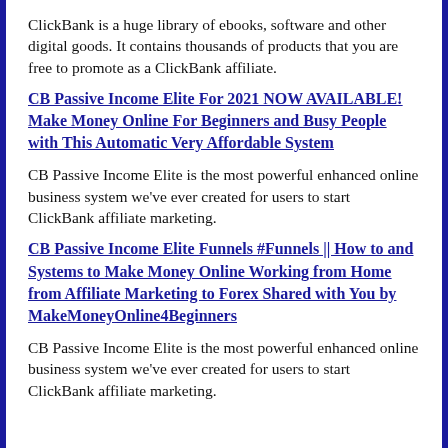ClickBank is a huge library of ebooks, software and other digital goods. It contains thousands of products that you are free to promote as a ClickBank affiliate.
CB Passive Income Elite For 2021 NOW AVAILABLE! Make Money Online For Beginners and Busy People with This Automatic Very Affordable System
CB Passive Income Elite is the most powerful enhanced online business system we've ever created for users to start ClickBank affiliate marketing.
CB Passive Income Elite Funnels #Funnels || How to and Systems to Make Money Online Working from Home from Affiliate Marketing to Forex Shared with You by MakeMoneyOnline4Beginners
CB Passive Income Elite is the most powerful enhanced online business system we've ever created for users to start ClickBank affiliate marketing.